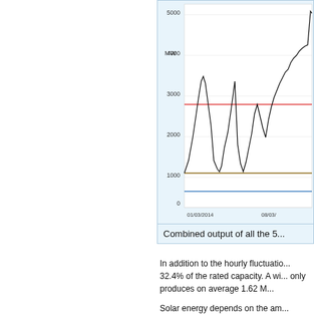[Figure (continuous-plot): Time-series line chart showing MW output over time from 01/03/2014 to 08/03/..., y-axis 0 to 5000 MW, with black jagged line showing high variability between ~800 and ~4200 MW, a red horizontal line at ~2800 MW, a brown horizontal line at ~900 MW, and a blue horizontal line at ~500 MW.]
Combined output of all the 5...
In addition to the hourly fluctuatio... 32.4% of the rated capacity. A wi... only produces on average 1.62 M...
Solar energy depends on the am... dramatically affect the output of a... solar facility in sunny Arizona illu...
Spri...